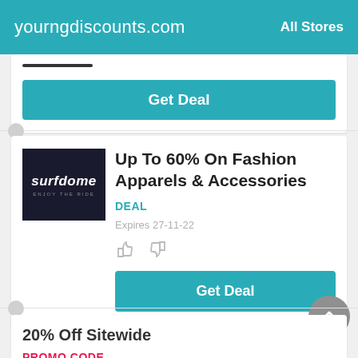yourngdiscounts.com  All Stores
[Figure (screenshot): Get Deal button from previous card (teal button)]
Up To 60% On Fashion Apparels & Accessories
DEAL
Expires 27-11-22
[Figure (logo): Surfdome store logo - dark background with italic text 'surfdome' and tagline 'enjoy the ride']
Get Deal
20% Off Sitewide
PROMO CODE